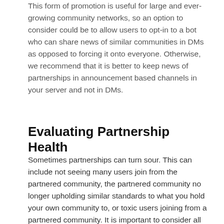This form of promotion is useful for large and ever-growing community networks, so an option to consider could be to allow users to opt-in to a bot who can share news of similar communities in DMs as opposed to forcing it onto everyone. Otherwise, we recommend that it is better to keep news of partnerships in announcement based channels in your server and not in DMs.
Evaluating Partnership Health
Sometimes partnerships can turn sour. This can include not seeing many users join from the partnered community, the partnered community no longer upholding similar standards to what you hold your own community to, or toxic users joining from a partnered community. It is important to consider all of these things before starting a partnership and keeping them in mind as your partnership